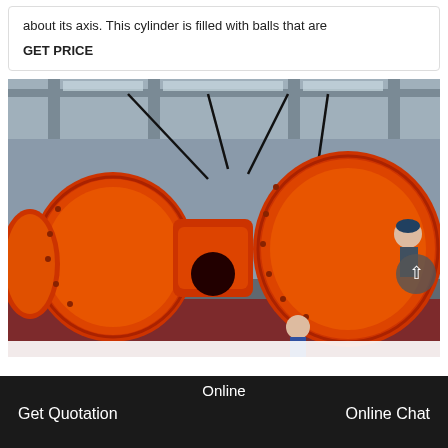about its axis. This cylinder is filled with balls that are
GET PRICE
[Figure (photo): Large orange industrial ball mill machinery suspended by crane cables inside a factory warehouse. Multiple cylindrical drum sections painted bright orange are visible, with workers visible in the background.]
Online   Get Quotation   Online Chat